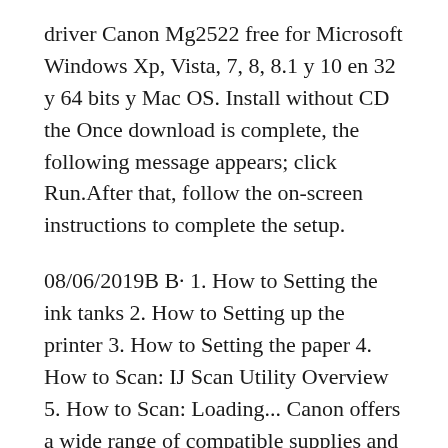driver Canon Mg2522 free for Microsoft Windows Xp, Vista, 7, 8, 8.1 y 10 en 32 y 64 bits y Mac OS. Install without CD the Once download is complete, the following message appears; click Run.After that, follow the on-screen instructions to complete the setup.
08/06/2019B B· 1. How to Setting the ink tanks 2. How to Setting up the printer 3. How to Setting the paper 4. How to Scan: IJ Scan Utility Overview 5. How to Scan: Loading... Canon offers a wide range of compatible supplies and accessories that can enhance your user experience with you PIXMA MG2522 that you can purchase direct. Scroll down to easily select items to add to your shopping cart for a faster,